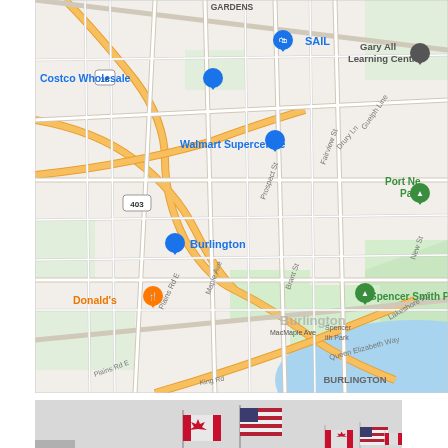[Figure (map): Google Maps screenshot showing Burlington, Ontario, Canada area with major landmarks including Costco Wholesale, Walmart Supercentre, SAIL, Spencer Smith Park, and road labels including Plains Rd E, Maple Ave, Queen Elizabeth Way, Brant St, Lakeshore Rd, Guelph Line, Fairview St, Prospect St, New St, Drury Ln, King Rd. Yellow highways (403, 403) visible. Blue lake/water at bottom right. Green parks shown.]
[Figure (photo): Outdoor photograph showing multiple flagpoles with Canadian (red and white maple leaf) and American (stars and stripes) flags flying together, taken in a parking lot or open area under an overcast sky.]